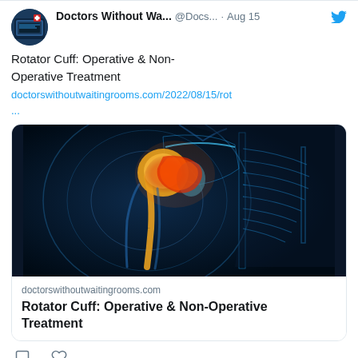[Figure (screenshot): Twitter/X social media post from Doctors Without Waiting Rooms account about Rotator Cuff operative and non-operative treatment, with a medical illustration showing shoulder anatomy with highlighted rotator cuff area in orange and red against a blue X-ray background.]
Doctors Without Wa... @Docs... · Aug 15
Rotator Cuff: Operative & Non-Operative Treatment
doctorswithoutwaitingrooms.com/2022/08/15/rot
...
doctorswithoutwaitingrooms.com
Rotator Cuff: Operative & Non-Operative Treatment